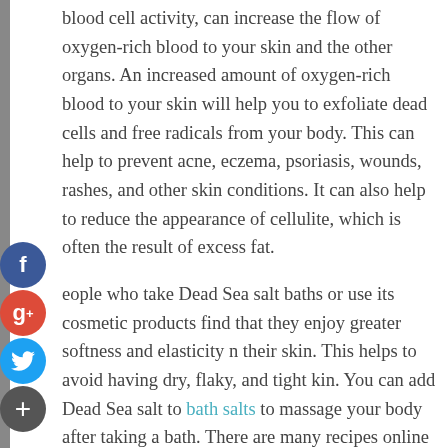blood cell activity, can increase the flow of oxygen-rich blood to your skin and the other organs. An increased amount of oxygen-rich blood to your skin will help you to exfoliate dead cells and free radicals from your body. This can help to prevent acne, eczema, psoriasis, wounds, rashes, and other skin conditions. It can also help to reduce the appearance of cellulite, which is often the result of excess fat.
People who take Dead Sea salt baths or use its cosmetic products find that they enjoy greater softness and elasticity in their skin. This helps to avoid having dry, flaky, and tight skin. You can add Dead Sea salt to bath salts to massage your body after taking a bath. There are many recipes online to make your own Dead Sea salt bath salts. You can also buy Dead Sea salt in many fine health and beauty stores.
Bromide is another wonderful ingredient found in Dead Sea